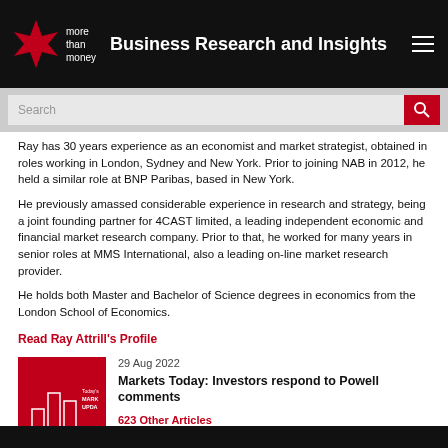Business Research and Insights
Ray has 30 years experience as an economist and market strategist, obtained in roles working in London, Sydney and New York. Prior to joining NAB in 2012, he held a similar role at BNP Paribas, based in New York.
He previously amassed considerable experience in research and strategy, being a joint founding partner for 4CAST limited, a leading independent economic and financial market research company. Prior to that, he worked for many years in senior roles at MMS International, also a leading on-line market research provider.
He holds both Master and Bachelor of Science degrees in economics from the London School of Economics.
Read Ray Attrill's Profile
29 Aug 2022
Markets Today: Investors respond to Powell comments
623 Other Articles
[Figure (illustration): Red thumbnail image with bar chart outline and text 'Today's MARKETS UPDATE']